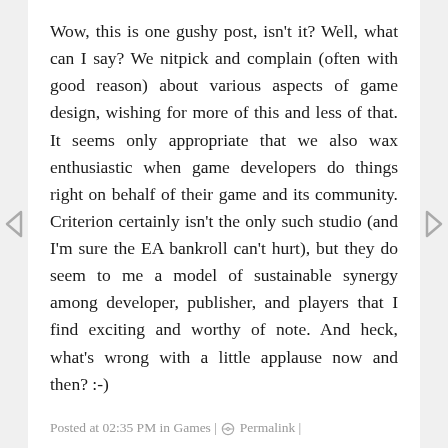Wow, this is one gushy post, isn't it? Well, what can I say? We nitpick and complain (often with good reason) about various aspects of game design, wishing for more of this and less of that. It seems only appropriate that we also wax enthusiastic when game developers do things right on behalf of their game and its community. Criterion certainly isn't the only such studio (and I'm sure the EA bankroll can't hurt), but they do seem to me a model of sustainable synergy among developer, publisher, and players that I find exciting and worthy of note. And heck, what's wrong with a little applause now and then? :-)
Posted at 02:35 PM in Games | Permalink |